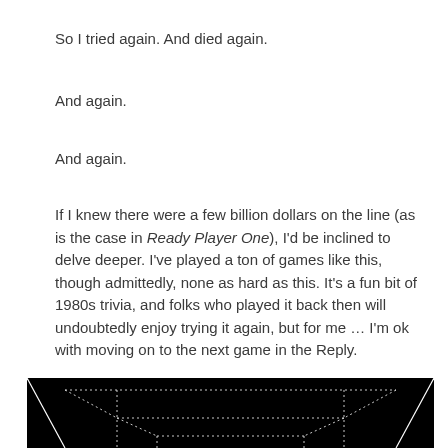So I tried again. And died again.
And again.
And again.
If I knew there were a few billion dollars on the line (as is the case in Ready Player One), I'd be inclined to delve deeper. I've played a ton of games like this, though admittedly, none as hard as this. It's a fun bit of 1980s trivia, and folks who played it back then will undoubtedly enjoy trying it again, but for me … I'm ok with moving on to the next game in the Reply.
[Figure (screenshot): Black background retro vector-style game screenshot showing dotted line geometric shapes resembling a 3D tunnel or maze on a dark background.]